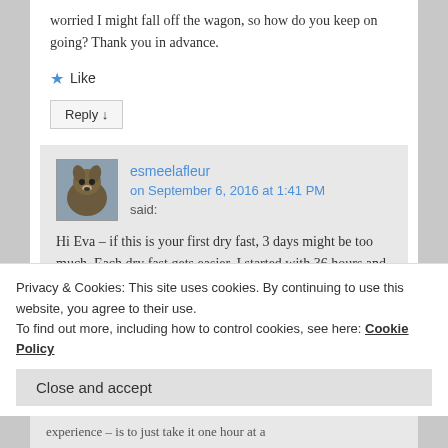worried I might fall off the wagon, so how do you keep on going? Thank you in advance.
Like
Reply ↓
esmeelafleur on September 6, 2016 at 1:41 PM said:
Hi Eva – if this is your first dry fast, 3 days might be too much. Each dry fast gets easier. I started with 36 hours and
Privacy & Cookies: This site uses cookies. By continuing to use this website, you agree to their use. To find out more, including how to control cookies, see here: Cookie Policy
Close and accept
experience – is to just take it one hour at a